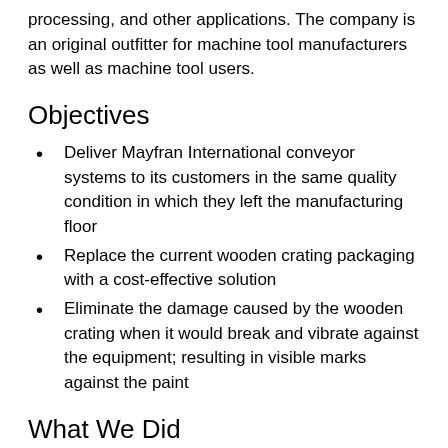processing, and other applications. The company is an original outfitter for machine tool manufacturers as well as machine tool users.
Objectives
Deliver Mayfran International conveyor systems to its customers in the same quality condition in which they left the manufacturing floor
Replace the current wooden crating packaging with a cost-effective solution
Eliminate the damage caused by the wooden crating when it would break and vibrate against the equipment; resulting in visible marks against the paint
What We Did
Partnered with S & S in Cleveland to replace the wooden crates with lamination